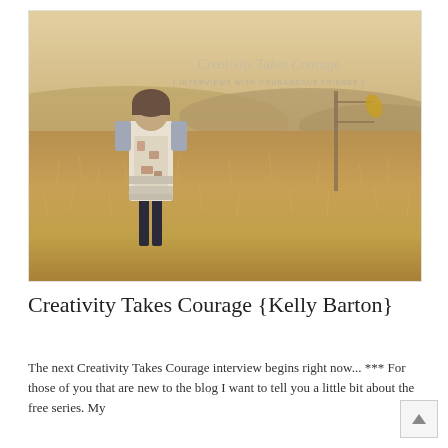[Figure (photo): A person wearing an apron standing in a golden field with hills in the background. Text overlay reads 'Creativity Takes Courage' and '{ INTERVIEWS WITH COURAGEOUS FRIENDS }']
Creativity Takes Courage {Kelly Barton}
The next Creativity Takes Courage interview begins right now... *** For those of you that are new to the blog I want to tell you a little bit about the free series. My